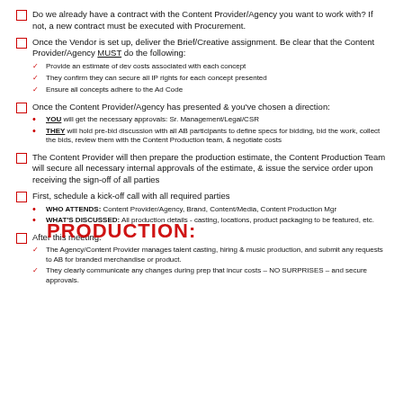Do we already have a contract with the Content Provider/Agency you want to work with? If not, a new contract must be executed with Procurement.
Once the Vendor is set up, deliver the Brief/Creative assignment. Be clear that the Content Provider/Agency MUST do the following:
- Provide an estimate of dev costs associated with each concept
- They confirm they can secure all IP rights for each concept presented
- Ensure all concepts adhere to the Ad Code
Once the Content Provider/Agency has presented & you've chosen a direction:
- YOU will get the necessary approvals: Sr. Management/Legal/CSR
- THEY will hold pre-bid discussion with all AB participants to define specs for bidding, bid the work, collect the bids, review them with the Content Production team, & negotiate costs
The Content Provider will then prepare the production estimate, the Content Production Team will secure all necessary internal approvals of the estimate, & issue the service order upon receiving the sign-off of all parties
First, schedule a kick-off call with all required parties
- WHO ATTENDS: Content Provider/Agency, Brand, Content/Media, Content Production Mgr
- WHAT'S DISCUSSED: All production details - casting, locations, product packaging to be featured, etc.
After this meeting:
- The Agency/Content Provider manages talent casting, hiring & music production, and submit any requests to AB for branded merchandise or product.
- They clearly communicate any changes during prep that incur costs - NO SURPRISES - and secure approvals.